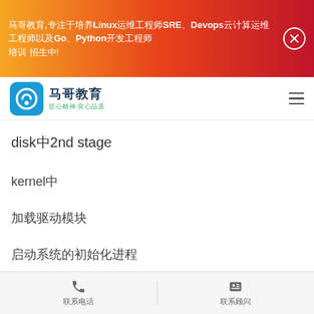马哥教育 — Linux运维工程师 SRE Devops 云计算运维 Go Python开发工程师 培训 招生中!
disk中2nd stage
kernel中
加载驱动模块
启动系统的初始化进程
切换到真正的根文件系统，挂载ramdisk内存盘等
联系电话    联系顾问